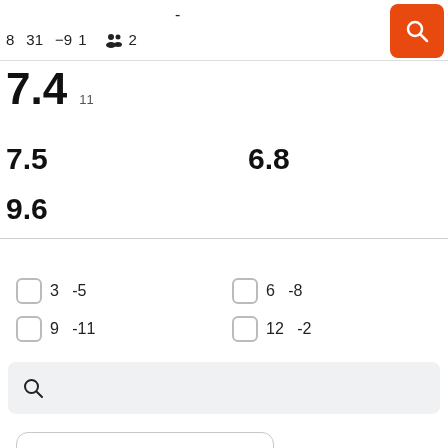- 8 31 −9 1 👥 2
7.4   11
7.5   6.8
9.6
☐ 3  -5
☐ 9  -11
☐ 6  -8
☐ 12  -2
[Figure (screenshot): Search bar with magnifying glass icon on light grey background]
[Figure (screenshot): Dropdown selector box with chevron]